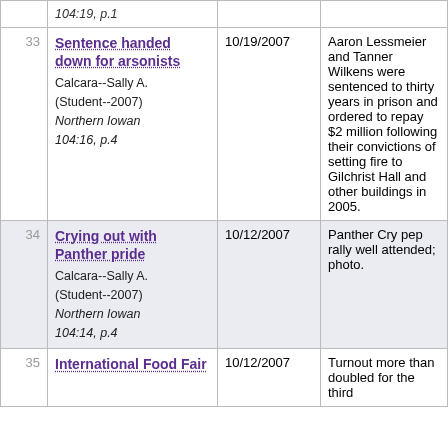| # | Title | Date | Description |
| --- | --- | --- | --- |
|  | 104:19, p.1 |  |  |
| 33 | Sentence handed down for arsonists
Calcara--Sally A. (Student--2007)
Northern Iowan 104:16, p.4 | 10/19/2007 | Aaron Lessmeier and Tanner Wilkens were sentenced to thirty years in prison and ordered to repay $2 million following their convictions of setting fire to Gilchrist Hall and other buildings in 2005. |
| 34 | Crying out with Panther pride
Calcara--Sally A. (Student--2007)
Northern Iowan 104:14, p.4 | 10/12/2007 | Panther Cry pep rally well attended; photo. |
| 35 | International Food Fair | 10/12/2007 | Turnout more than doubled for the third |